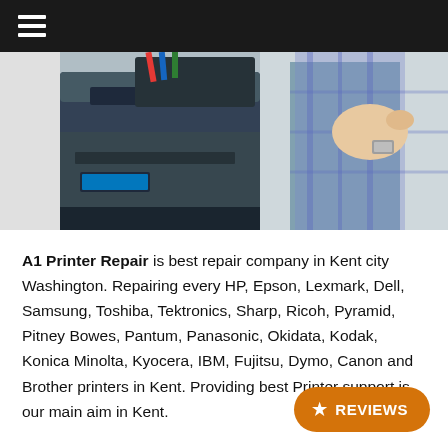[Figure (photo): A person repairing a printer, holding a mechanical component over an open printer.]
A1 Printer Repair is best repair company in Kent city Washington. Repairing every HP, Epson, Lexmark, Dell, Samsung, Toshiba, Tektronics, Sharp, Ricoh, Pyramid, Pitney Bowes, Pantum, Panasonic, Okidata, Kodak, Konica Minolta, Kyocera, IBM, Fujitsu, Dymo, Canon and Brother printers in Kent. Providing best Printer support is our main aim in Kent.
We can solve every Offline problem, WiFi related problem, black printing error in Printer and No printing